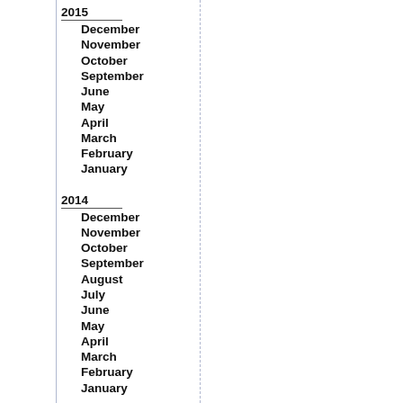2015
December
November
October
September
June
May
April
March
February
January
2014
December
November
October
September
August
July
June
May
April
March
February
January
2013
December
November
October
September
August